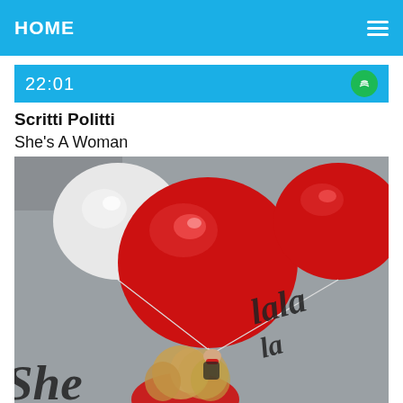HOME
22:01
Scritti Politti
She's A Woman
[Figure (photo): Album cover artwork showing a woman with long blonde hair holding red and white balloons. Text 'lala' written in dark script on a grey background. Woman wears red clothing.]